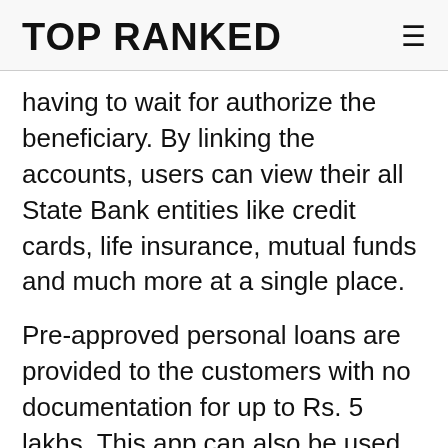TOP RANKED
having to wait for authorize the beneficiary. By linking the accounts, users can view their all State Bank entities like credit cards, life insurance, mutual funds and much more at a single place.
Pre-approved personal loans are provided to the customers with no documentation for up to Rs. 5 lakhs. This app can also be used to manage credit/debit cards and cheque books.
Users can request new cheque books, stop cheques, block ATM cards and change the